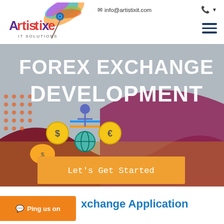[Figure (logo): Artistixe IT Solutions logo with colorful peacock feather and stylized text]
✉ info@artistixit.com
[Figure (screenshot): Forex Exchange Development hero banner with currency symbols, decorative wave shapes in dark red and purple, and illustrated characters]
FOREX EXCHANGE DEVELOPMENT
Let's Get Started
Ping us on
xchange Application